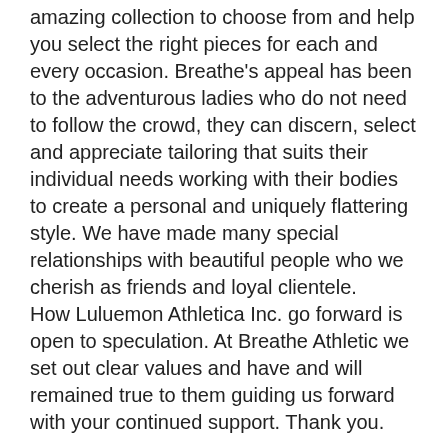amazing collection to choose from and help you select the right pieces for each and every occasion. Breathe's appeal has been to the adventurous ladies who do not need to follow the crowd, they can discern, select and appreciate tailoring that suits their individual needs working with their bodies to create a personal and uniquely flattering style. We have made many special relationships with beautiful people who we cherish as friends and loyal clientele. How Luluemon Athletica Inc. go forward is open to speculation. At Breathe Athletic we set out clear values and have and will remained true to them guiding us forward with your continued support. Thank you.
Tags: Active Wear, Alternative to Lululemon, Athletic clothing, bamboo yoga clothes, bikram yoga clothes, Canadian made yoga clothes, canadian made yoga clothes, cotton yoga clothes,